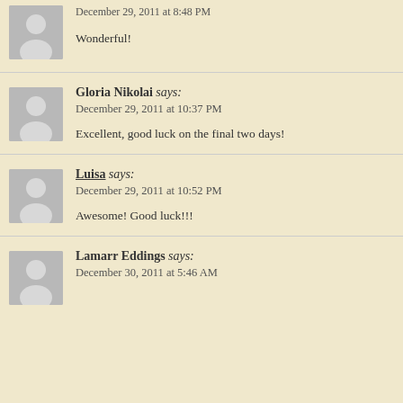Wonderful!
Gloria Nikolai says:
December 29, 2011 at 10:37 PM

Excellent, good luck on the final two days!
Luisa says:
December 29, 2011 at 10:52 PM

Awesome! Good luck!!!
Lamarr Eddings says:
December 30, 2011 at 5:46 AM